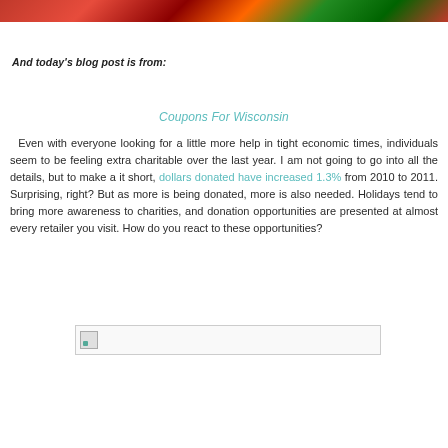[Figure (photo): Top decorative banner image with red, orange, and green foliage colors]
And today's blog post is from:
Coupons For Wisconsin
Even with everyone looking for a little more help in tight economic times, individuals seem to be feeling extra charitable over the last year. I am not going to go into all the details, but to make a it short, dollars donated have increased 1.3% from 2010 to 2011. Surprising, right? But as more is being donated, more is also needed. Holidays tend to bring more awareness to charities, and donation opportunities are presented at almost every retailer you visit. How do you react to these opportunities?
[Figure (photo): Broken image placeholder]